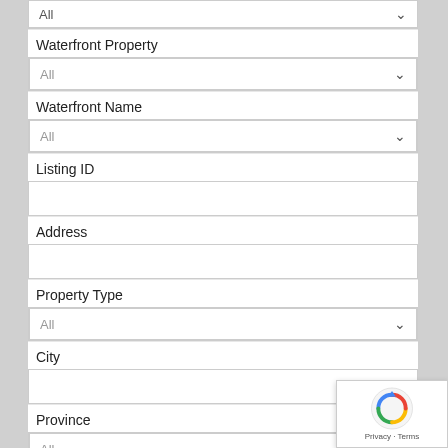All (dropdown, top, partially visible)
Waterfront Property
All
Waterfront Name
All
Listing ID
Address
Property Type
All
City
Province
All